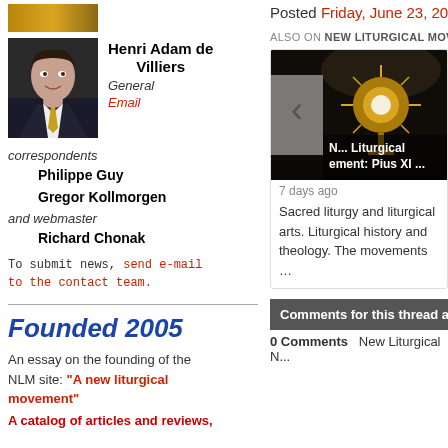[Figure (photo): Small decorative image at top left, gold/warm tones]
Henri Adam de Villiers
General
Email
correspondents
Philippe Guy
Gregor Kollmorgen
and webmaster
Richard Chonak
To submit news, send e-mail to the contact team.
Founded 2005
An essay on the founding of the NLM site: "A new liturgical movement"
A catalog of articles and reviews,
Posted Friday, June 23, 2006
ALSO ON NEW LITURGICAL MOV...
[Figure (photo): Card image showing a monstrance in a church setting with golden sunburst, dark background. Title overlay: New Liturgical Movement: Pius XI ...]
7 days ago
Sacred liturgy and liturgical arts. Liturgical history and theology. The movements …
Comments for this thread are now c...
0 Comments   New Liturgical N...